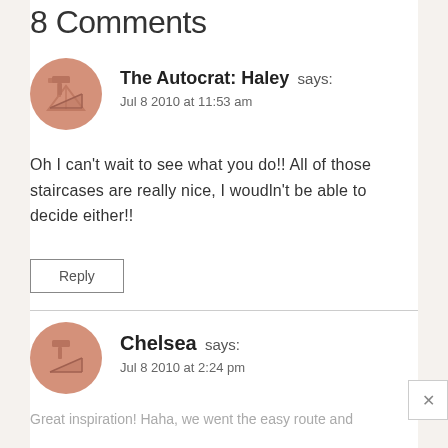8 Comments
The Autocrat: Haley says:
Jul 8 2010 at 11:53 am
Oh I can't wait to see what you do!! All of those staircases are really nice, I woudln't be able to decide either!!
Reply
Chelsea says:
Jul 8 2010 at 2:24 pm
Great inspiration! Haha, we went the easy route and